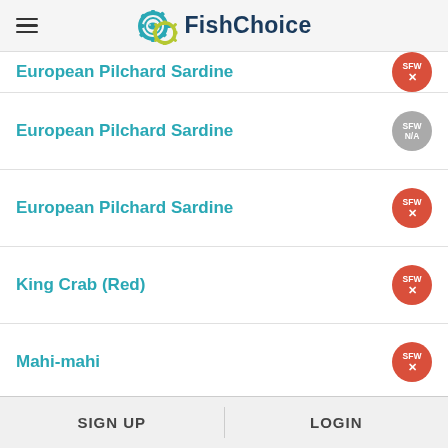FishChoice
European Pilchard Sardine
European Pilchard Sardine
European Pilchard Sardine
King Crab (Red)
Mahi-mahi
Mediterranean Mussels
Pacific Halibut
Sea Scallops
SIGN UP | LOGIN